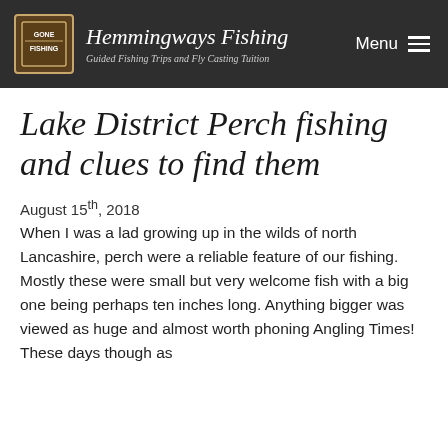Hemmingways Fishing — Guided Fishing Trips and Fly Casting Tuition | Menu
Lake District Perch fishing and clues to find them
August 15th, 2018
When I was a lad growing up in the wilds of north Lancashire, perch were a reliable feature of our fishing. Mostly these were small but very welcome fish with a big one being perhaps ten inches long. Anything bigger was viewed as huge and almost worth phoning Angling Times! These days though as